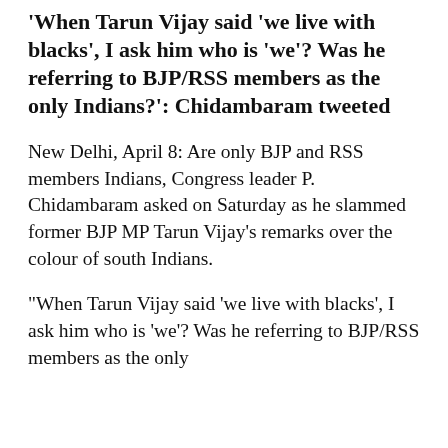'When Tarun Vijay said 'we live with blacks', I ask him who is 'we'? Was he referring to BJP/RSS members as the only Indians?': Chidambaram tweeted
New Delhi, April 8: Are only BJP and RSS members Indians, Congress leader P. Chidambaram asked on Saturday as he slammed former BJP MP Tarun Vijay's remarks over the colour of south Indians.
"When Tarun Vijay said 'we live with blacks', I ask him who is 'we'? Was he referring to BJP/RSS members as the only Indians?': Chidambaram tweeted